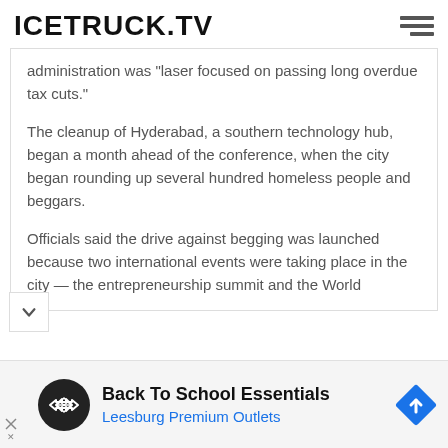ICETRUCK.TV
administration was "laser focused on passing long overdue tax cuts."
The cleanup of Hyderabad, a southern technology hub, began a month ahead of the conference, when the city began rounding up several hundred homeless people and beggars.
Officials said the drive against begging was launched because two international events were taking place in the city — the entrepreneurship summit and the World
[Figure (infographic): Advertisement banner: Back To School Essentials - Leesburg Premium Outlets, with circular black icon with double arrow logo and blue diamond direction sign on right]